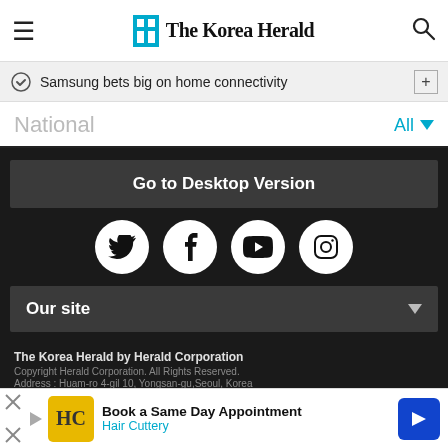The Korea Herald
Samsung bets big on home connectivity
National
All
Go to Desktop Version
[Figure (logo): Social media icons: Twitter, Facebook, YouTube, Instagram]
Our site
The Korea Herald by Herald Corporation
Copyright Herald Corporation. All Rights Reserved.
Address : Huam-ro 4-gil 10, Yongsan-gu, Seoul, Korea
Online newspaper registration No : Seoul 아03711
Book a Same Day Appointment Hair Cuttery